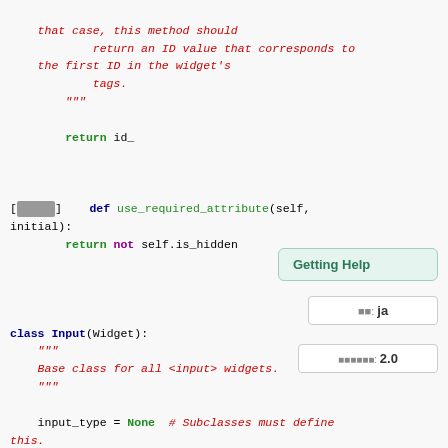Code snippet showing Python class definitions including use_required_attribute method and Input class with docstrings and attributes
[Figure (screenshot): Getting Help tooltip UI element]
[Figure (screenshot): Language selector showing 'ja']
[Figure (screenshot): Version selector showing 2.0]